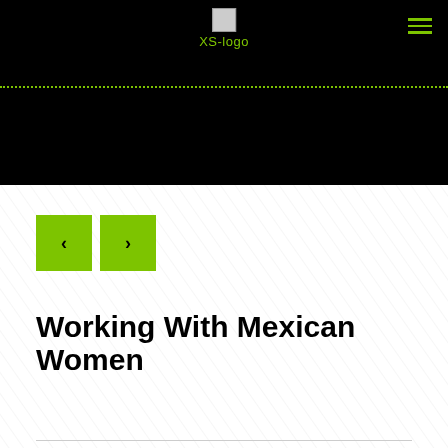[Figure (logo): XS-logo placeholder image with green text label below]
[Figure (illustration): Hamburger menu icon with three green horizontal lines]
[Figure (illustration): Navigation previous and next buttons as green squares with left and right chevrons]
Working With Mexican Women